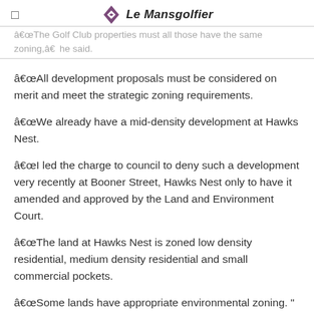Le Mansgolfier
“The Golf Club properties must all those have the same zoning,” he said.
“All development proposals must be considered on merit and meet the strategic zoning requirements.
“We already have a mid-density development at Hawks Nest.
“I led the charge to council to deny such a development very recently at Booner Street, Hawks Nest only to have it amended and approved by the Land and Environment Court.
“The land at Hawks Nest is zoned low density residential, medium density residential and small commercial pockets.
“Some lands have appropriate environmental zoning. "